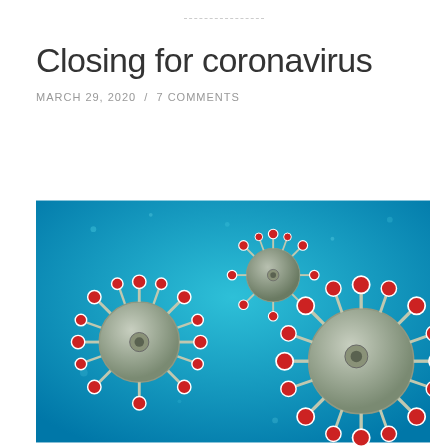Closing for coronavirus
MARCH 29, 2020 / 7 COMMENTS
[Figure (photo): 3D rendered illustration of coronavirus particles floating in a blue liquid/underwater environment. Three virus particles are visible with grey spherical bodies covered in red-tipped spike proteins on white stalks.]